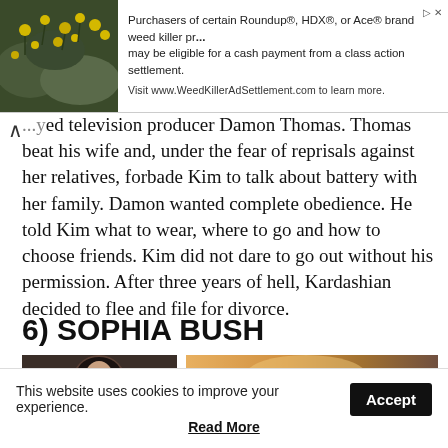[Figure (other): Advertisement banner: image of yellow flowers on left, text advertising Roundup/HDX/Ace weed killer class action settlement on right]
...ed television producer Damon Thomas. Thomas beat his wife and, under the fear of reprisals against her relatives, forbade Kim to talk about battery with her family. Damon wanted complete obedience. He told Kim what to wear, where to go and how to choose friends. Kim did not dare to go out without his permission. After three years of hell, Kardashian decided to flee and file for divorce.
6) SOPHIA BUSH
[Figure (photo): Two photos side by side: left photo shows a woman with long dark hair against dark background; right photo shows a partially visible scene with warm sunset/orange tones and a partial figure on the right edge.]
This website uses cookies to improve your experience.
Accept
Read More